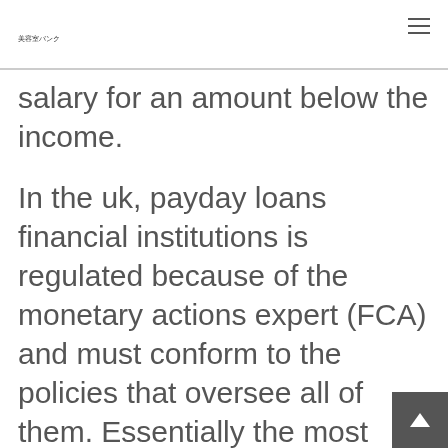美容室バンク
salary for an amount below the income.
In the uk, payday loans financial institutions is regulated because of the monetary actions expert (FCA) and must conform to the policies that oversee all of them. Essentially the most accepted laws found in this sector contain a cap on attention, a cap on standard charges and a cap on repayment collection efforts making use of an ongoing cost power.